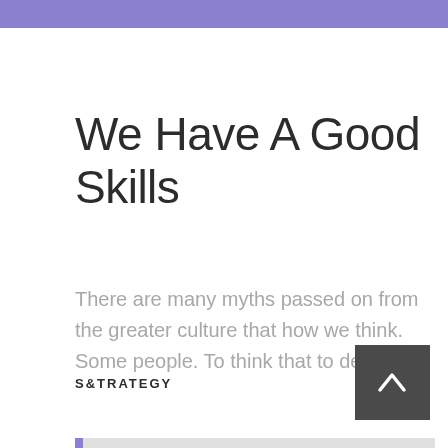We Have A Good Skills
There are many myths passed on from the greater culture that how we think. Some people. To think that to design.
STRATEGY